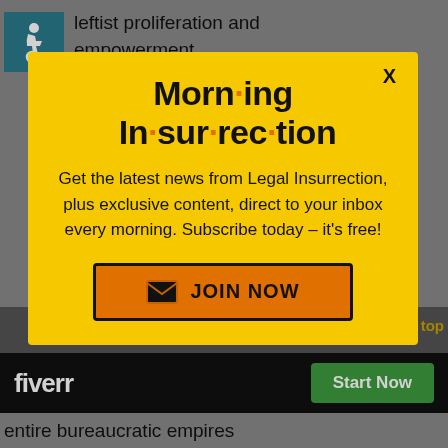leftist proliferation and empowerment.
When did Left make their greatest gains in history? Under RINO
[Figure (infographic): Morning Insurrection popup modal with yellow background. Title reads 'Morn·ing In·sur·rec·tion' with orange dots. Subtitle: 'Get the latest news from Legal Insurrection, plus exclusive content, direct to your inbox every morning. Subscribe today – it's free!' with an orange JOIN NOW button.]
to scour and ×nse our
[Figure (logo): Fiverr logo with Start Now green button on black bar]
entire bureaucratic empires